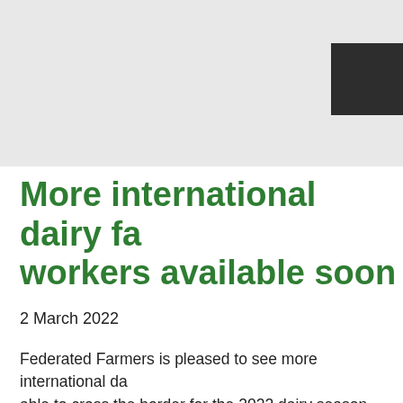[Figure (other): Gray header banner area with a dark charcoal square box in the upper right corner]
More international dairy farm workers available soon
2 March 2022
Federated Farmers is pleased to see more international dairy farm workers able to cross the border for the 2022 dairy season.
"Farms are short thousands of staff and with continued lo